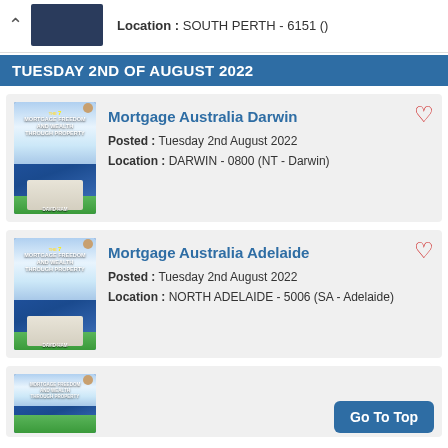Location : SOUTH PERTH - 6151 ()
TUESDAY 2ND OF AUGUST 2022
Mortgage Australia Darwin
Posted : Tuesday 2nd August 2022
Location : DARWIN - 0800 (NT - Darwin)
Mortgage Australia Adelaide
Posted : Tuesday 2nd August 2022
Location : NORTH ADELAIDE - 5006 (SA - Adelaide)